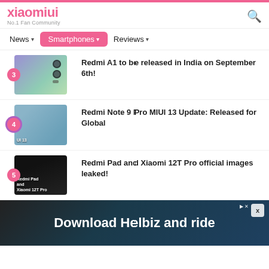xiaomiui
No.1 Fan Community
News ▾
Smartphones ▾
Reviews ▾
3 Redmi A1 to be released in India on September 6th!
4 Redmi Note 9 Pro MIUI 13 Update: Released for Global
5 Redmi Pad and Xiaomi 12T Pro official images leaked!
[Figure (screenshot): Advertisement banner: Download Helbiz and ride, showing a scooter handlebar]